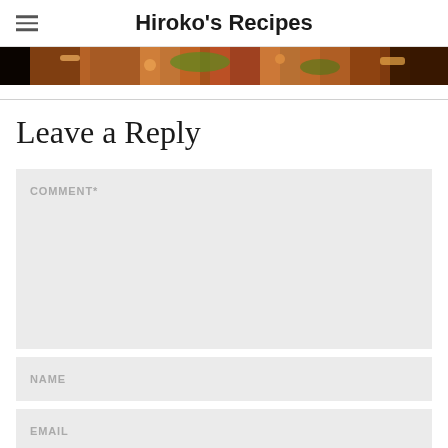Hiroko's Recipes
[Figure (photo): Partial view of a food dish, appears to be a noodle or pasta dish with colorful toppings and herbs, dark background]
Leave a Reply
COMMENT*
NAME
EMAIL